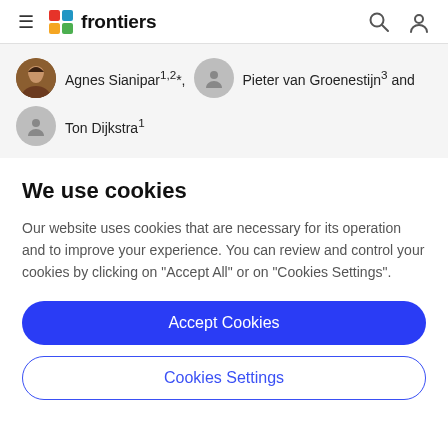≡  frontiers
Agnes Sianipar1,2*, Pieter van Groenestijn3 and Ton Dijkstra1
We use cookies
Our website uses cookies that are necessary for its operation and to improve your experience. You can review and control your cookies by clicking on "Accept All" or on "Cookies Settings".
Accept Cookies
Cookies Settings